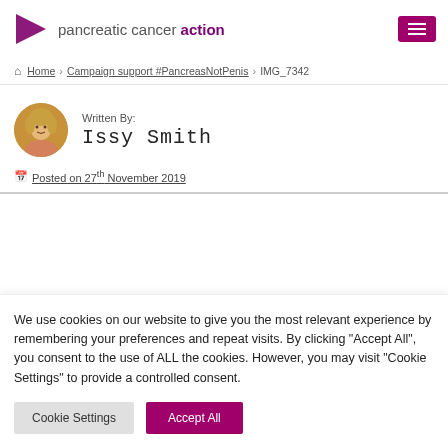pancreatic cancer action
Home > Campaign support #PancreasNotPenis > IMG_7342
[Figure (photo): Circular avatar photo of author Issy Smith, a young woman with blonde hair]
Written By: Issy Smith
Posted on 27th November 2019
We use cookies on our website to give you the most relevant experience by remembering your preferences and repeat visits. By clicking "Accept All", you consent to the use of ALL the cookies. However, you may visit "Cookie Settings" to provide a controlled consent.